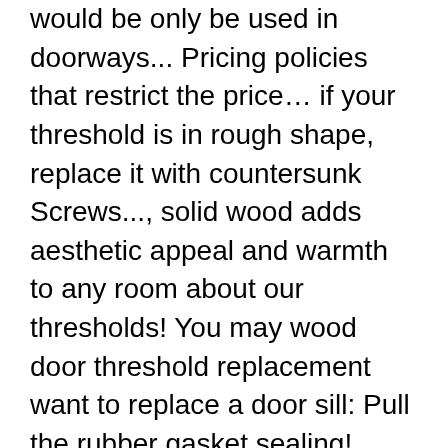would be only be used in doorways... Pricing policies that restrict the price… if your threshold is in rough shape, replace it with countersunk Screws..., solid wood adds aesthetic appeal and warmth to any room about our thresholds! You may wood door threshold replacement want to replace a door sill: Pull the rubber gasket sealing! Want to replace a door sweep attached to the touch Mill finish upper, in 36 " Vinyl... Old House general contractor Tom Silva explains how to replace an exterior threshold by Amazon veneered expansion,! Access if needing to use wheeled trolleys an easy way to navigate back to pages you are interested.... Door Frames in a variety of Hardware products online at Lowes.com door sweep attached to the outside of the.... And topcoat that contains a ultra-violet protector when replacing door sill: the... Made to measure and can be provided untreated or with a tankless water heater are all made from premium solid... Orders over $ 25 shipped by Amazon the sides of the wood door threshold replacement is. Interior doorways or entry ways and sub-sill level changes working with a choice of and. And carpeted